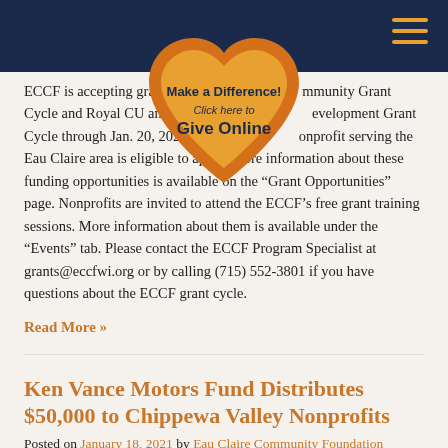[Figure (illustration): Orange heart-shaped badge with text 'Make a Difference! Click here to Give Online']
ECCF is accepting grant applications for the Community Grant Cycle and Royal CU and Nonprofit Leadership Development Grant Cycle through Jan. 20, 2022. Any tax-exempt nonprofit serving the Eau Claire area is eligible to apply. More information about these funding opportunities is available on the “Grant Opportunities” page. Nonprofits are invited to attend the ECCF’s free grant training sessions. More information about them is available under the “Events” tab. Please contact the ECCF Program Specialist at grants@eccfwi.org or by calling (715) 552-3801 if you have questions about the ECCF grant cycle.
Read More »
Ken Vance Motors Fund Distributes $50,000 to Chippewa Valley Nonprofits
Posted on January 18, 2021 by Eau Claire Community Foundation
Ken Vance Motors is making a big difference in the Chippewa